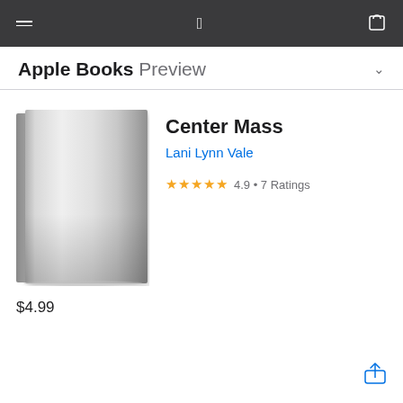Apple Books Preview
Center Mass
Lani Lynn Vale
★★★★★ 4.9 • 7 Ratings
[Figure (illustration): Gray book cover with gradient, no title text on the cover]
$4.99
[Figure (other): Share icon (box with arrow pointing up) in blue]